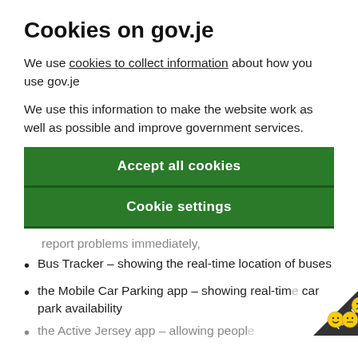Cookies on gov.je
We use cookies to collect information about how you use gov.je
We use this information to make the website work as well as possible and improve government services.
[Figure (other): Green button: Accept all cookies]
[Figure (other): Green button: Cookie settings]
report problems immediately,
Bus Tracker – showing the real-time location of buses
the Mobile Car Parking app – showing real-time car park availability
the Active Jersey app – allowing people